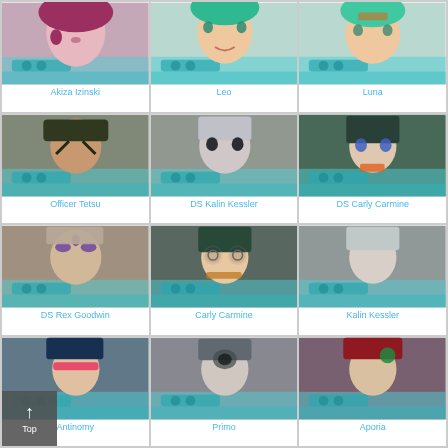[Figure (illustration): Anime character grid showing Yu-Gi-Oh characters with names below each image]
Akiza Izinski
Leo
Luna
Officer Tetsu
DS Kalin Kessler
DS Carly Carmine
DS Rex Goodwin
Carly Carmine
Kalin Kessler
Antinomy
Primo
Aporia